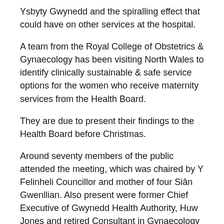Ysbyty Gwynedd and the spiralling effect that could have on other services at the hospital.
A team from the Royal College of Obstetrics & Gynaecology has been visiting North Wales to identify clinically sustainable & safe service options for the women who receive maternity services from the Health Board.
They are due to present their findings to the Health Board before Christmas.
Around seventy members of the public attended the meeting, which was chaired by Y Felinheli Councillor and mother of four Siân Gwenllian. Also present were former Chief Executive of Gwynedd Health Authority, Huw Jones and retired Consultant in Gynaecology and Obstetrics at Ysbyty Gwynedd Peter Tivy-Jones.